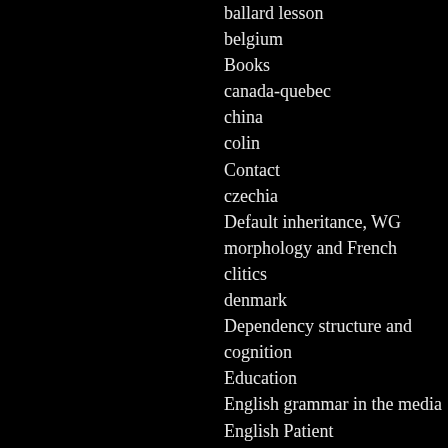ballard lesson
belgium
Books
canada-quebec
china
colin
Contact
czechia
Default inheritance, WG morphology and French clitics
denmark
Dependency structure and cognition
Education
English grammar in the media
English Patient
English Word Grammar
estonia